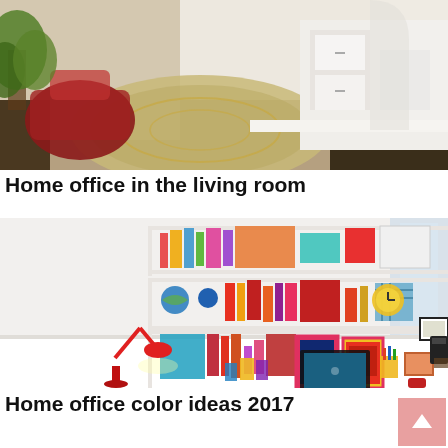[Figure (photo): Interior photo of a home office in a living room, showing a round patterned rug, white built-in shelving/drawers, a red chair, and green plant]
Home office in the living room
[Figure (photo): Colorful home office workspace with white floating shelves filled with colorful books and decorative items, a white desk with a red lamp, laptop, and various accessories, framed posters on the wall]
Home office color ideas 2017